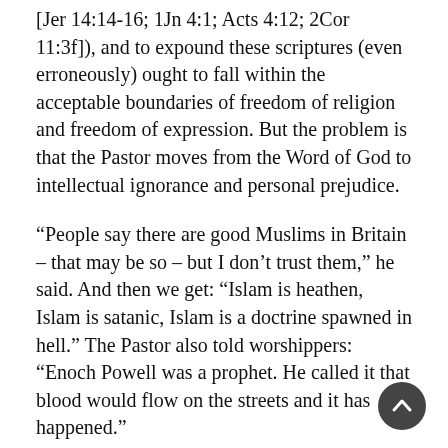[Jer 14:14-16; 1Jn 4:1; Acts 4:12; 2Cor 11:3f]), and to expound these scriptures (even erroneously) ought to fall within the acceptable boundaries of freedom of religion and freedom of expression. But the problem is that the Pastor moves from the Word of God to intellectual ignorance and personal prejudice.
“People say there are good Muslims in Britain – that may be so – but I don’t trust them,” he said. And then we get: “Islam is heathen, Islam is satanic, Islam is a doctrine spawned in hell.” The Pastor also told worshippers: “Enoch Powell was a prophet. He called it that blood would flow on the streets and it has happened.”
It is no crime to preach the gospel (or to believe that Enoch Powell was a prophet), but it is a perversion of the gospel (if not an abuse of the